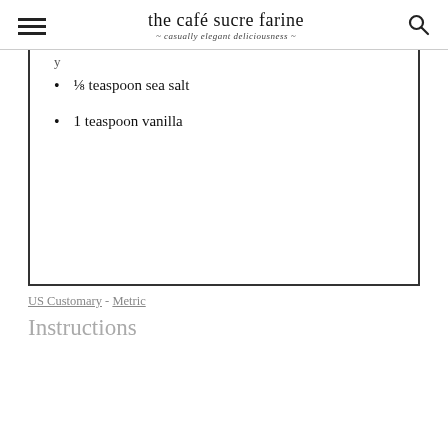the café sucre farine — casually elegant deliciousness
⅛ teaspoon sea salt
1 teaspoon vanilla
US Customary - Metric
Instructions